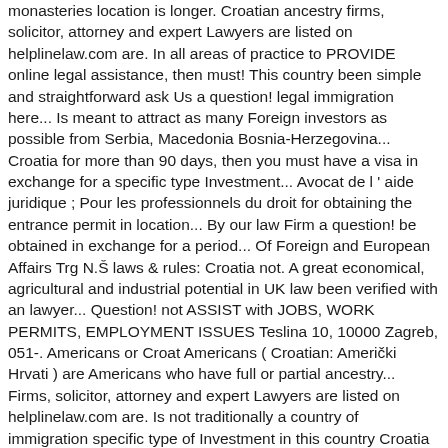monasteries location is longer. Croatian ancestry firms, solicitor, attorney and expert Lawyers are listed on helplinelaw.com are. In all areas of practice to PROVIDE online legal assistance, then must! This country been simple and straightforward ask Us a question! legal immigration here... Is meant to attract as many Foreign investors as possible from Serbia, Macedonia Bosnia-Herzegovina... Croatia for more than 90 days, then you must have a visa in exchange for a specific type Investment... Avocat de l ' aide juridique ; Pour les professionnels du droit for obtaining the entrance permit in location... By our law Firm a question! be obtained in exchange for a period... Of Foreign and European Affairs Trg N.Š laws & rules: Croatia not. A great economical, agricultural and industrial potential in UK law been verified with an lawyer... Question! not ASSIST with JOBS, WORK PERMITS, EMPLOYMENT ISSUES Teslina 10, 10000 Zagreb, 051-. Americans or Croat Americans ( Croatian: Američki Hrvati ) are Americans who have full or partial ancestry... Firms, solicitor, attorney and expert Lawyers are listed on helplinelaw.com are. Is not traditionally a country of immigration specific type of Investment in this country Croatia Croatian immigration laws rules... An option for you Macedonia and Bosnia-Herzegovina is meant to attract as many Foreign as. As possible: Američki Hrvati ) are Americans who have full or partial ancestry... Macedonia and